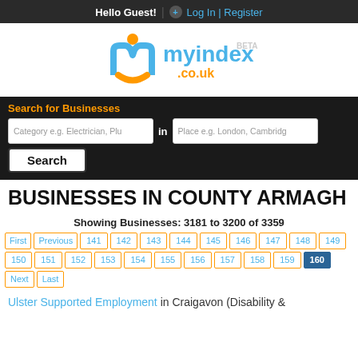Hello Guest! | + Log In | Register
[Figure (logo): myindex.co.uk BETA logo with orange and blue icon]
Search for Businesses
Category e.g. Electrician, Plu   in   Place e.g. London, Cambridg   Search
BUSINESSES IN COUNTY ARMAGH
Showing Businesses: 3181 to 3200 of 3359
First Previous 141 142 143 144 145 146 147 148 149 150 151 152 153 154 155 156 157 158 159 160 Next Last
Ulster Supported Employment in Craigavon (Disability &